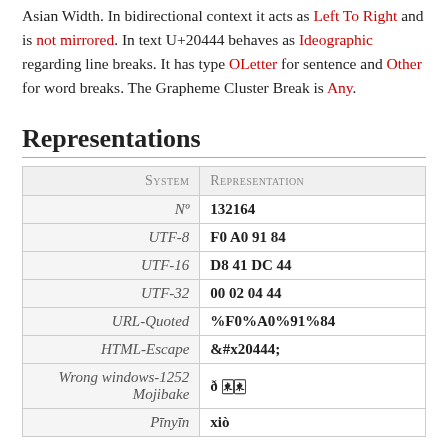Asian Width. In bidirectional context it acts as Left To Right and is not mirrored. In text U+20444 behaves as Ideographic regarding line breaks. It has type OLetter for sentence and Other for word breaks. The Grapheme Cluster Break is Any.
Representations
| System | Representation |
| --- | --- |
| Nº | 132164 |
| UTF-8 | F0 A0 91 84 |
| UTF-16 | D8 41 DC 44 |
| UTF-32 | 00 02 04 44 |
| URL-Quoted | %F0%A0%91%84 |
| HTML-Escape | &#x20444; |
| Wrong windows-1252 Mojibake | ð 🀀🀀 |
| Pīnyīn | xiò |